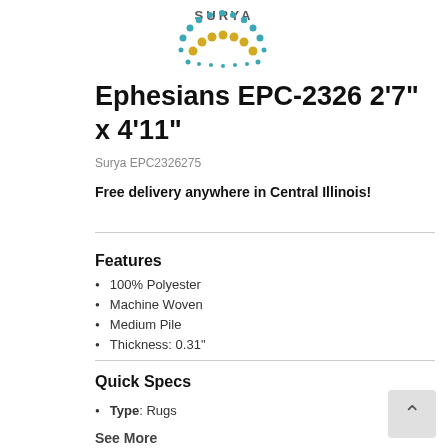[Figure (logo): Surya brand logo — semicircle of teal dots above gold dots spelling SURYA]
Ephesians EPC-2326 2'7" x 4'11"
Surya EPC2326275
Free delivery anywhere in Central Illinois!
Features
100% Polyester
Machine Woven
Medium Pile
Thickness: 0.31"
Quick Specs
Type: Rugs
See More